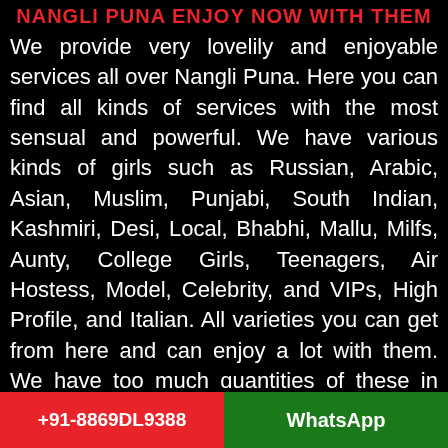NANGLI PUNA ENJOY NOW WITH THEM
We provide very lovelily and enjoyable services all over Nangli Puna. Here you can find all kinds of services with the most sensual and powerful. We have various kinds of girls such as Russian, Arabic, Asian, Muslim, Punjabi, South Indian, Kashmiri, Desi, Local, Bhabhi, Mallu, Milfs, Aunty, College Girls, Teenagers, Air Hostess, Model, Celebrity, and VIPs, High Profile, and Italian. All varieties you can get from here and can enjoy a lot with them. We have too much quantities of these in each category girls. We have appox 345 trained
+91-8869DL9388  WhatsApp